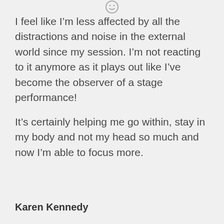[Figure (illustration): Small smiley face icon at the top center of the page]
I feel like I’m less affected by all the distractions and noise in the external world since my session. I’m not reacting to it anymore as it plays out like I’ve become the observer of a stage performance!
It’s certainly helping me go within, stay in my body and not my head so much and now I’m able to focus more.
Karen Kennedy